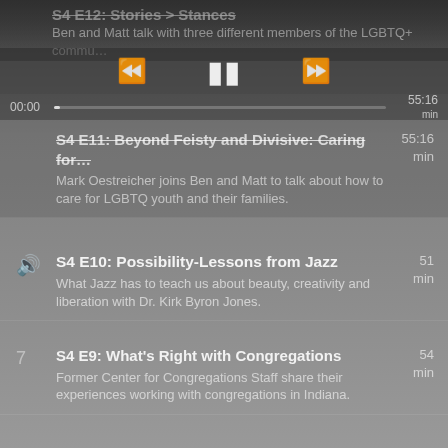S4 E12: Stories > Stances
Ben and Matt talk with three different members of the LGBTQ+ community
[Figure (screenshot): Media player controls: rewind (◄◄), pause (⏸), fast forward (►►)]
00:00  |progress bar|  55:16
S4 E11: Beyond Feisty and Divisive: Caring for… 55:16 min
Mark Oestreicher joins Ben and Matt to talk about how to care for LGBTQ youth and their families.
S4 E10: Possibility-Lessons from Jazz 51 min
What Jazz has to teach us about beauty, creativity and liberation with Dr. Kirk Byron Jones.
7 S4 E9: What's Right with Congregations 54 min
Former Center for Congregations Staff share their experiences working with congregations in Indiana.
8 S4 E8: When Digital Ministry Is Not Plug-And-Play 50 min
Rev. Dr. Rosario Picardo talk digital ministry
9 S4 E7: Remembering Our History In Order To Heal 75 min
Stories from the AAPI (Asian American Pacific Islander) Community